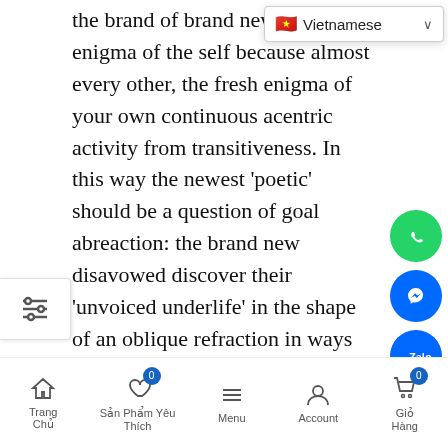the brand of brand new art… enigma of the self because almost every other, the fresh enigma of your own continuous acentric activity from transitiveness. In this way the newest 'poetic' should be a question of goal abreaction: the brand new disavowed discover their 'unvoiced underlife' in the shape of an oblique refraction in ways akin to an excellent novelist 'fleshing out' a character.
[Figure (screenshot): Language selector dropdown showing Vietnamese flag and text 'Vietnamese' with chevron]
[Figure (screenshot): Filter/settings icon on left edge]
[Figure (infographic): Social media floating buttons: WhatsApp (green), Messenger (blue), Zalo (blue), scroll-to-top (dark)]
[Figure (infographic): Share bar with Facebook, Twitter, Pinterest, Google+ icons and a shop/cart icon]
[Figure (screenshot): Bottom navigation bar with icons: Trang Chủ (Home), Sản Phẩm Yêu Thích (Wishlist, badge 0), Menu (hamburger), Account, Giỏ Hàng (Cart, badge 0)]